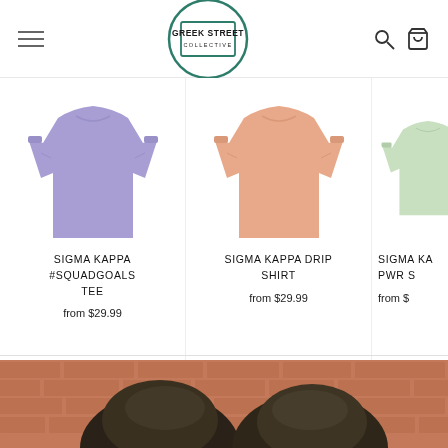[Figure (logo): Greek Street Collective logo — circular badge with teal border, rectangular inner frame with text GREEK STREET COLLECTIVE]
SIGMA KAPPA #SQUADGOALS TEE
from $29.99
SIGMA KAPPA DRIP SHIRT
from $29.99
SIGMA KA PWR S
from $
[Figure (photo): Two women facing away from camera toward a red brick wall, seen from behind, with dark hair]